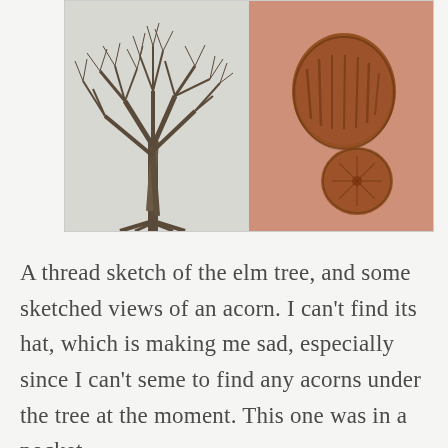[Figure (illustration): Two side-by-side illustrations: left panel shows a detailed thread/pencil sketch of a bare elm tree with intricate branches on a light grey-white background; right panel shows sketched views of an acorn (top view and bottom/cap-less view) drawn in brown on a salmon/orange-pink background.]
A thread sketch of the elm tree, and some sketched views of an acorn. I can't find its hat, which is making me sad, especially since I can't seme to find any acorns under the tree at the moment. This one was in a pocket.